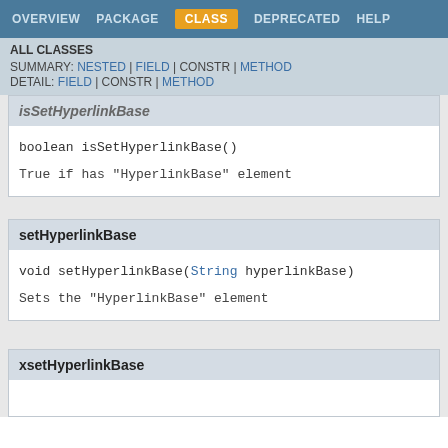OVERVIEW  PACKAGE  CLASS  DEPRECATED  HELP
ALL CLASSES
SUMMARY: NESTED | FIELD | CONSTR | METHOD
DETAIL: FIELD | CONSTR | METHOD
isSetHyperlinkBase
boolean isSetHyperlinkBase()
True if has "HyperlinkBase" element
setHyperlinkBase
void setHyperlinkBase(String hyperlinkBase)
Sets the "HyperlinkBase" element
xsetHyperlinkBase